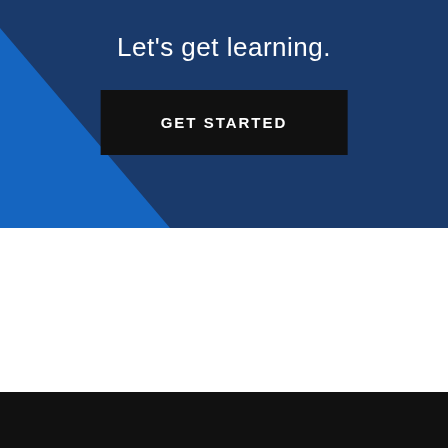Let's get learning.
[Figure (illustration): Dark navy blue background with a bright blue diagonal triangle shape in the lower left corner. Below is a white section and a black footer bar.]
GET STARTED